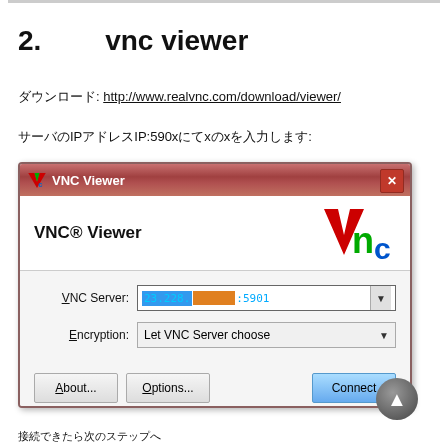2. 　　vnc viewer
ダウンロード: http://www.realvnc.com/download/viewer/
サーバのIPアドレスIP:590xにてxのx接続します:
[Figure (screenshot): VNC Viewer application dialog showing VNC Server field with IP 23.228.xxx.xxx:5901, Encryption dropdown set to 'Let VNC Server choose', and buttons About..., Options..., Connect]
接続できたら次のステップへ